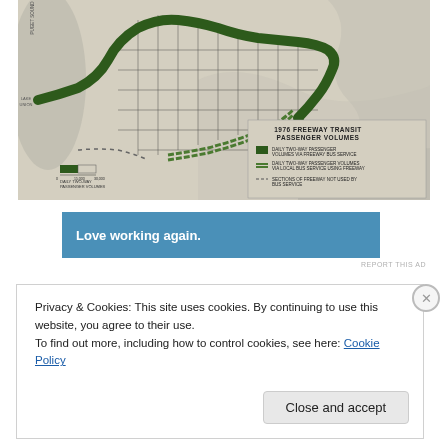[Figure (map): 1976 Freeway Transit Passenger Volumes map showing a city street grid with dark green thick lines indicating daily two-way passenger volumes via freeway bus service, parallel lines for local bus service using freeway, and dashed lines for sections of freeway not used by bus service. Legend in lower right corner.]
Love working again.
REPORT THIS AD
Privacy & Cookies: This site uses cookies. By continuing to use this website, you agree to their use.
To find out more, including how to control cookies, see here: Cookie Policy
Close and accept